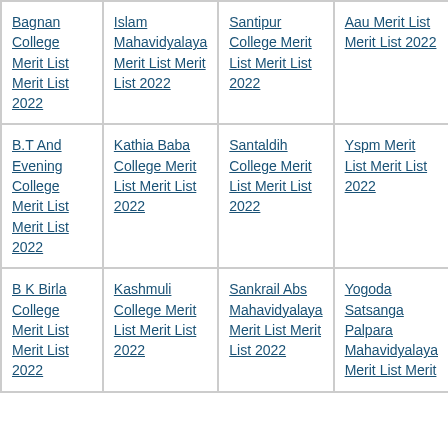| Bagnan College Merit List Merit List 2022 | Islam Mahavidyalaya Merit List Merit List 2022 | Santipur College Merit List Merit List 2022 | Aau Merit List Merit List 2022 |
| B.T And Evening College Merit List Merit List 2022 | Kathia Baba College Merit List Merit List 2022 | Santaldih College Merit List Merit List 2022 | Yspm Merit List Merit List 2022 |
| B K Birla College Merit List Merit List 2022 | Kashmuli College Merit List Merit List 2022 | Sankrail Abs Mahavidyalaya Merit List Merit List 2022 | Yogoda Satsanga Palpara Mahavidyalaya Merit List Merit |